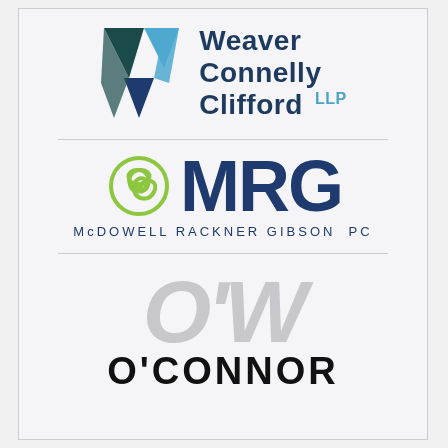[Figure (logo): Weaver Connelly Clifford LLP logo — geometric W-shaped icon in dark teal and blue, with firm name in dark navy blue and 'LLP' in light blue superscript]
[Figure (logo): MRG McDowell Rackner Gibson PC logo — green swirl/triskele symbol on left, large dark navy 'MRG' text, with 'McDOWELL RACKNER GIBSON PC' in spaced small caps below]
[Figure (logo): O'Connor logo — large light gray italic 'O'W' monogram above bold black 'O'CONNOR' text]